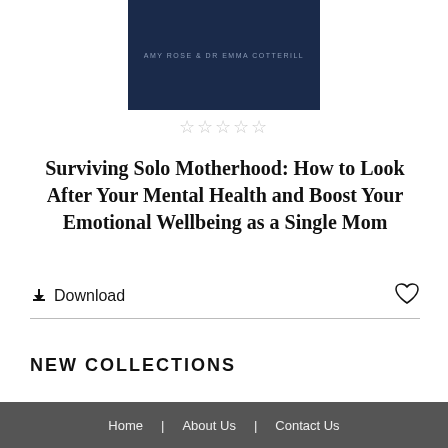[Figure (illustration): Book cover with dark navy background and author names 'AMY ROSE & DR EMMA COTTERILL' in small grey text]
★★★★★ (empty star rating, 5 grey stars)
Surviving Solo Motherhood: How to Look After Your Mental Health and Boost Your Emotional Wellbeing as a Single Mom
⬇ Download
NEW COLLECTIONS
Home | About Us | Contact Us